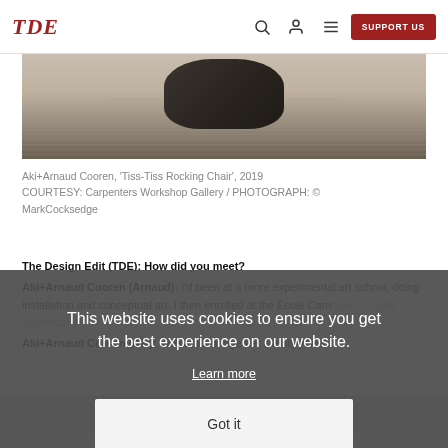TDE | SUPPORT US
[Figure (photo): Close-up photo of Tiss-Tiss Rocking Chair by Aki+Arnaud Cooren, showing curved dark form on rippled sandy/wood surface]
Aki+Arnaud Cooren, 'Tiss-Tiss Rocking Chair', 2019 COURTESY: Carpenters Workshop Gallery / PHOTOGRAPH: © MarkCocksedge
The Design Edit (TDE): How did you meet?
Aki+Arnaud Cooren (Arnaud): I'd been at a more experimental art school, doing installation and conceptual art. I then enrolled at the École Cam... architecture...
Aki+Arnaud Cooren (Aki): We've been together twenty years.
This website uses cookies to ensure you get the best experience on our website.
Learn more
Got it